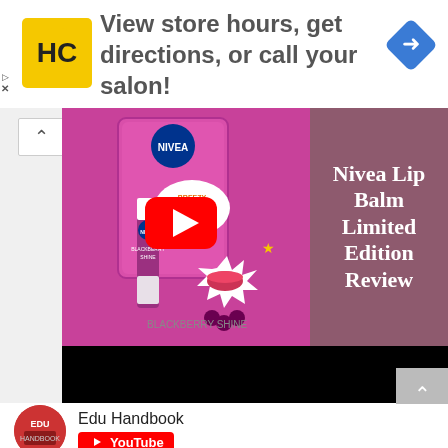[Figure (screenshot): Advertisement banner with HC (Hair Club) logo, text 'View store hours, get directions, or call your salon!' and blue navigation arrow diamond icon]
[Figure (screenshot): YouTube video thumbnail showing Nivea Breezy Blackberry Lip Balm Limited Edition product on pink background left side, and mauve right side with bold white serif text 'Nivea Lip Balm Limited Edition Review', with red YouTube play button overlay and black letterbox bar at bottom]
Edu Handbook
[Figure (logo): YouTube red logo badge button]